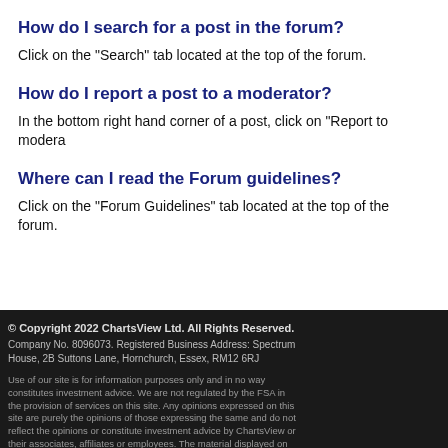How do I search for a post in the forum?
Click on the "Search" tab located at the top of the forum.
How do I report a post to a moderator?
In the bottom right hand corner of a post, click on "Report to modera
Where can I read the Forum guidelines?
Click on the "Forum Guidelines" tab located at the top of the forum.
© Copyright 2022 ChartsView Ltd. All Rights Reserved. Company No. 8096073. Registered Business Address: Spectrum House, 2B Suttons Lane, Hornchurch, Essex, RM12 6RJ
Use of our site is for information purposes only and in no way constitutes investment advice. We are not regulated by the FSA in the provision of services on this site. Any opinions expressed on this site are purely the opinions of those expressing the same and do not reflect the opinions or constitute investment advice by ChartsView or their associates, affiliates or employees. The material displayed on our site is provided without any guarantees, conditions or warranties as to its accuracy
Find Us On: facebook & twitter
PROTECTED BY COPYSCAPE DO NOT COPY
Site design by